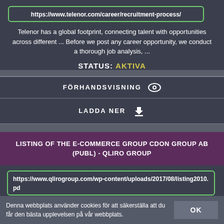https://www.telenor.com/career/recruitment-process/
Telenor has a global footprint, connecting talent with opportunities across different ... Before we post any career opportunity, we conduct a thorough job analysis, ...
STATUS: AKTIVA
FÖRHANDSVISNING
LADDA NER
LISTING OF THE E-COMMERCE GROUP CDON GROUP AB (PUBL) - QLIRO GROUP
https://www.qlirogroup.com/wp-content/uploads/2017/08/listing2010.pd
Cross-marketing via e-mail among CDON Group's internet stores complements other advertising. By cross-marketing the Company has the
Denna webbplats använder cookies för att säkerställa att du får den bästa upplevelsen på vår webbplats.